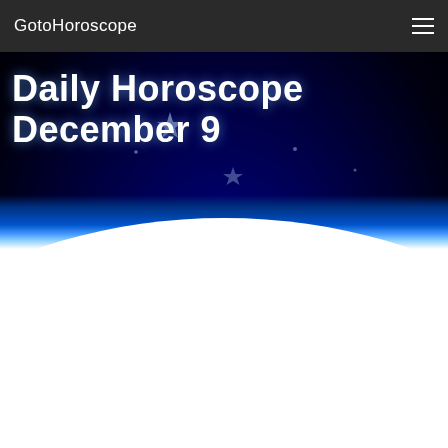GotoHoroscope
Daily Horoscope December 9
[Figure (illustration): Space/astronomy themed hero image with dark navy starry sky background, glowing blue atmospheric horizon line, and a white curved earth surface below. Several star shapes scattered across the dark sky.]